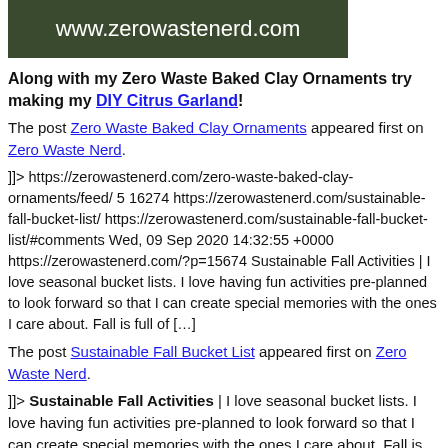[Figure (other): Dark olive-green banner with white text reading www.zerowastenerd.com]
Along with my Zero Waste Baked Clay Ornaments try making my DIY Citrus Garland!
The post Zero Waste Baked Clay Ornaments appeared first on Zero Waste Nerd.
]]> https://zerowastenerd.com/zero-waste-baked-clay-ornaments/feed/ 5 16274 https://zerowastenerd.com/sustainable-fall-bucket-list/ https://zerowastenerd.com/sustainable-fall-bucket-list/#comments Wed, 09 Sep 2020 14:32:55 +0000 https://zerowastenerd.com/?p=15674 Sustainable Fall Activities | I love seasonal bucket lists. I love having fun activities pre-planned to look forward so that I can create special memories with the ones I care about. Fall is full of […]
The post Sustainable Fall Bucket List appeared first on Zero Waste Nerd.
]]> Sustainable Fall Activities | I love seasonal bucket lists. I love having fun activities pre-planned to look forward so that I can create special memories with the ones I care about. Fall is full of so